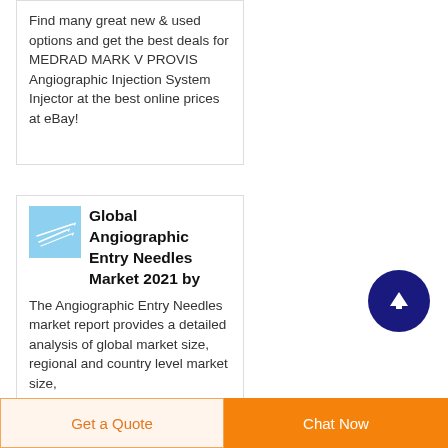Find many great new & used options and get the best deals for MEDRAD MARK V PROVIS Angiographic Injection System Injector at the best online prices at eBay!
Global Angiographic Entry Needles Market 2021 by
The Angiographic Entry Needles market report provides a detailed analysis of global market size, regional and country level market size,
[Figure (photo): Small thumbnail photo of angiographic needles on blue background]
[Figure (infographic): Dark blue circular scroll-to-top button with upward arrow icon]
Get a Quote
Chat Now